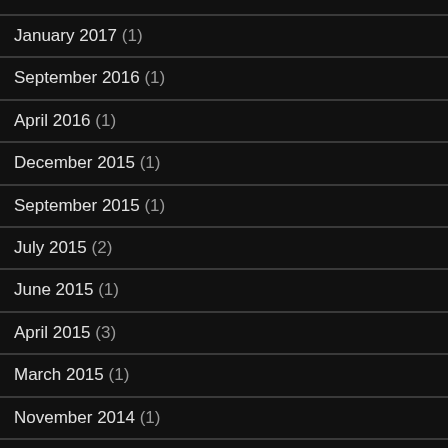January 2017 (1)
September 2016 (1)
April 2016 (1)
December 2015 (1)
September 2015 (1)
July 2015 (2)
June 2015 (1)
April 2015 (3)
March 2015 (1)
November 2014 (1)
October 2014 (1)
July 2014 (2)